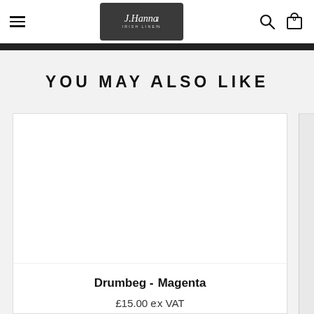J.Hanna Irish Linen — navigation header with menu, logo, search, and bag icons
YOU MAY ALSO LIKE
[Figure (photo): Product image area for Drumbeg - Magenta, white background]
Drumbeg - Magenta
£15.00 ex VAT